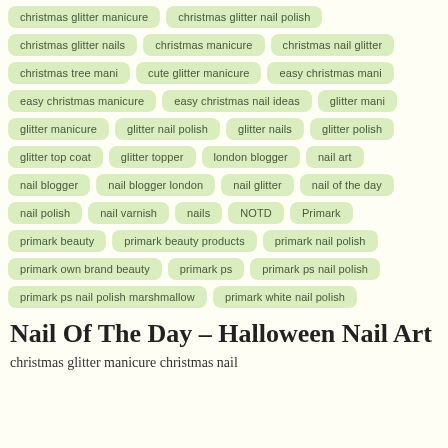christmas glitter manicure
christmas glitter nail polish
christmas glitter nails
christmas manicure
christmas nail glitter
christmas tree mani
cute glitter manicure
easy christmas mani
easy christmas manicure
easy christmas nail ideas
glitter mani
glitter manicure
glitter nail polish
glitter nails
glitter polish
glitter top coat
glitter topper
london blogger
nail art
nail blogger
nail blogger london
nail glitter
nail of the day
nail polish
nail varnish
nails
NOTD
Primark
primark beauty
primark beauty products
primark nail polish
primark own brand beauty
primark ps
primark ps nail polish
primark ps nail polish marshmallow
primark white nail polish
Nail Of The Day – Halloween Nail Art